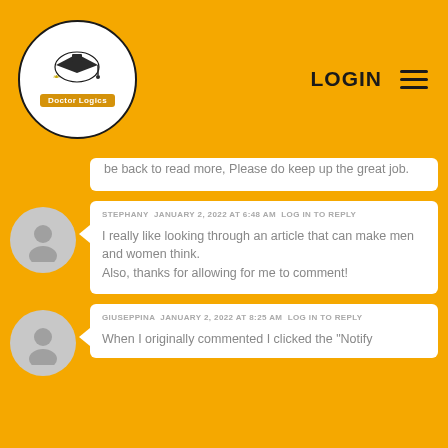[Figure (logo): Doctor Logics logo with graduation cap inside oval, on orange/yellow header background]
LOGIN ≡
be back to read more, Please do keep up the great job.
STEPHANY   JANUARY 2, 2022 AT 6:48 AM   LOG IN TO REPLY
I really like looking through an article that can make men and women think.
Also, thanks for allowing for me to comment!
GIUSEPPINA   JANUARY 2, 2022 AT 8:25 AM   LOG IN TO REPLY
When I originally commented I clicked the "Notify